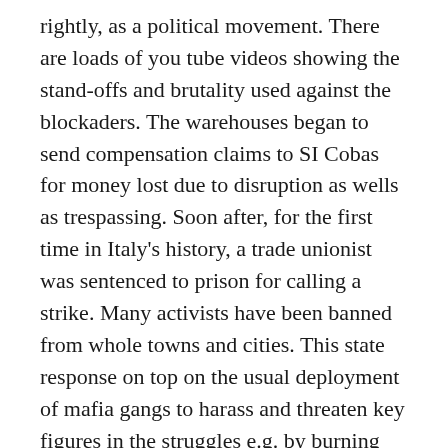rightly, as a political movement. There are loads of you tube videos showing the stand-offs and brutality used against the blockaders. The warehouses began to send compensation claims to SI Cobas for money lost due to disruption as wells as trespassing. Soon after, for the first time in Italy's history, a trade unionist was sentenced to prison for calling a strike. Many activists have been banned from whole towns and cities. This state response on top on the usual deployment of mafia gangs to harass and threaten key figures in the struggles e.g. by burning cars and beating people up.
It was good to see that the blockades actually seemed to mainly be organised by workers themselves, by workers from other warehouses, and with the involvement of other migrant workers in the squats. But whilst this tactic of blockading and having external